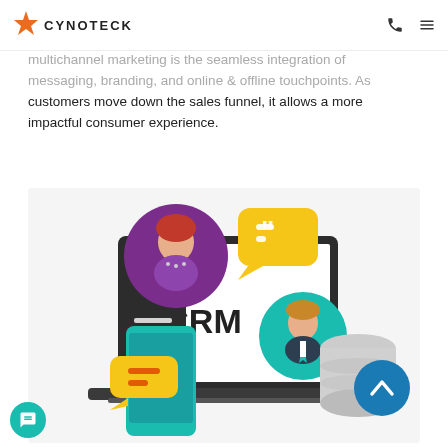CYNOTECK
multichannel marketing is the seamless integration of messaging, branding, and online & offline touchpoints. As customers move down the sales funnel, it allows a more impactful consumer experience.
[Figure (illustration): CRM illustration showing a laptop with 'CRM' text, a female avatar in purple circle with speech bubble, a male avatar in teal circle, a mobile phone with chat bubble, and a database cylinder, plus a blue scroll-to-top button.]